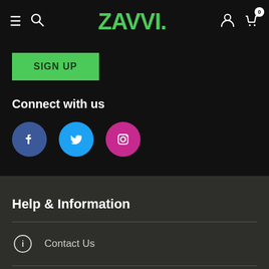Zavvi navigation bar with logo, hamburger menu, search, user, and cart icons
SIGN UP
Connect with us
[Figure (illustration): Social media icons: Facebook (blue circle with f), Twitter (light blue circle with bird), Instagram (pink/magenta circle with camera outline)]
Help & Information
Contact Us
Returns Policy
US Shipping